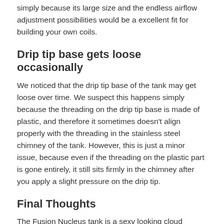simply because its large size and the endless airflow adjustment possibilities would be a excellent fit for building your own coils.
Drip tip base gets loose occasionally
We noticed that the drip tip base of the tank may get loose over time. We suspect this happens simply because the threading on the drip tip base is made of plastic, and therefore it sometimes doesn't align properly with the threading in the stainless steel chimney of the tank. However, this is just a minor issue, because even if the threading on the plastic part is gone entirely, it still sits firmly in the chimney after you apply a slight pressure on the drip tip.
Final Thoughts
The Fusion Nucleus tank is a sexy looking cloud machine which also delivers exceptionally clear and intense flavor. Why do we love this tank? First of all, it is something different in comparison to all the other vape tanks currently available on the market, and